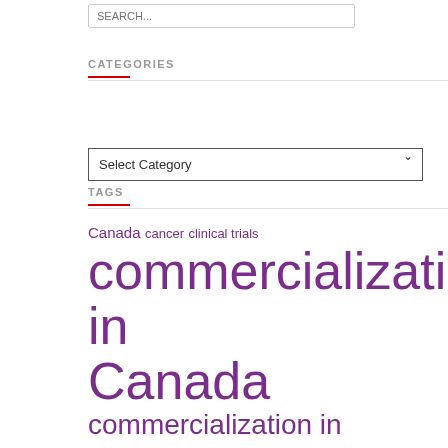[Figure (screenshot): Search input box with placeholder text SEARCH...]
CATEGORIES
[Figure (screenshot): Select Category dropdown widget]
TAGS
Canada cancer clinical trials commercialization in Canada commercialization in Ontario commercialization in Toronto early-stage investing